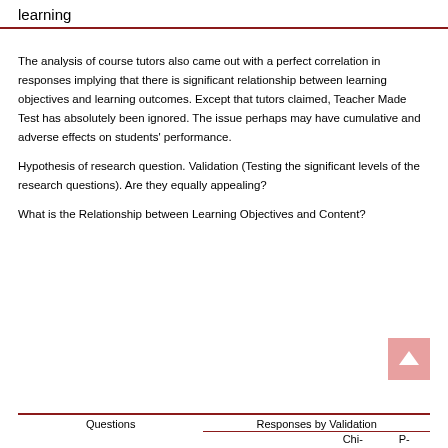learning
The analysis of course tutors also came out with a perfect correlation in responses implying that there is significant relationship between learning objectives and learning outcomes. Except that tutors claimed, Teacher Made Test has absolutely been ignored. The issue perhaps may have cumulative and adverse effects on students' performance.
Hypothesis of research question. Validation (Testing the significant levels of the research questions). Are they equally appealing?
What is the Relationship between Learning Objectives and Content?
| Questions | Responses by Validation | Chi- | P- |
| --- | --- | --- | --- |